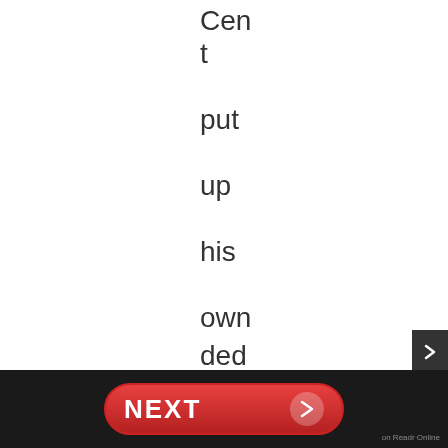Cent put up his own money to have ChrisLighty'
[Figure (other): NEXT button with right arrow on dark footer bar, and a side navigation arrow on the right edge]